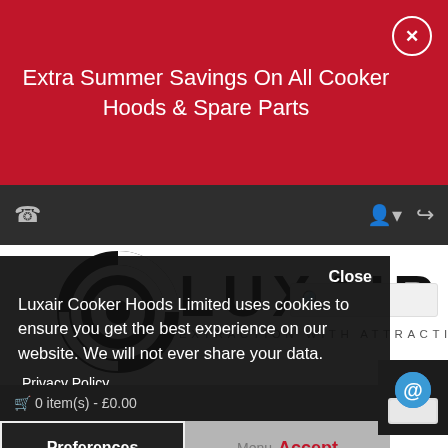Extra Summer Savings On All Cooker Hoods & Spare Parts
[Figure (screenshot): Dark navigation bar with phone icon on left, user and share icons on right]
[Figure (logo): Luxair Extraction With Attraction logo with spiral graphic]
Luxair Cooker Hoods Limited uses cookies to ensure you get the best experience on our website. We will not ever share your data.
Privacy Policy
0 item(s) - £0.00
Preferences
Menu  Accept
Brand  Luxair Cooker Hoods Limited